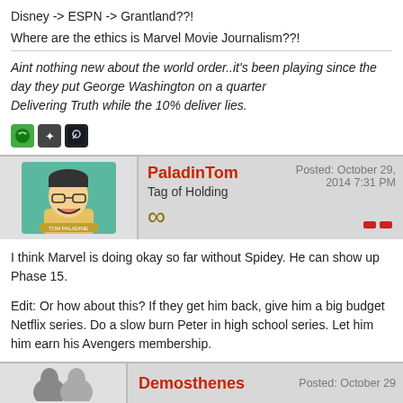Disney -> ESPN -> Grantland??!
Where are the ethics is Marvel Movie Journalism??!
Aint nothing new about the world order..it's been playing since the day they put George Washington on a quarter
Delivering Truth while the 10% deliver lies.
[Figure (other): Row of three gaming platform icons: Xbox (green), puzzle/achievement (dark), Steam (dark)]
PaladinTom
Tag of Holding
[infinity symbol]
Posted: October 29, 2014 7:31 PM
I think Marvel is doing okay so far without Spidey. He can show up Phase 15.
Edit: Or how about this? If they get him back, give him a big budget Netflix series. Do a slow burn Peter in high school series. Let him him earn his Avengers membership.
"Hacked by bourbon, maybe." - Jonman
[Figure (other): Row of gaming/social icons: Steam, house/home (orange), puzzle (dark), Xbox (green), Twitch (purple), Twitter (blue)]
Demosthenes
Posted: October 29